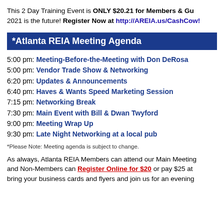This 2 Day Training Event is ONLY $20.21 for Members & Gu 2021 is the future! Register Now at http://AREIA.us/CashCow!
*Atlanta REIA Meeting Agenda
5:00 pm: Meeting-Before-the-Meeting with Don DeRosa
5:00 pm: Vendor Trade Show & Networking
6:20 pm: Updates & Announcements
6:40 pm: Haves & Wants Speed Marketing Session
7:15 pm: Networking Break
7:30 pm: Main Event with Bill & Dwan Twyford
9:00 pm: Meeting Wrap Up
9:30 pm: Late Night Networking at a local pub
*Please Note: Meeting agenda is subject to change.
As always, Atlanta REIA Members can attend our Main Meeting and Non-Members can Register Online for $20 or pay $25 at bring your business cards and flyers and join us for an evening